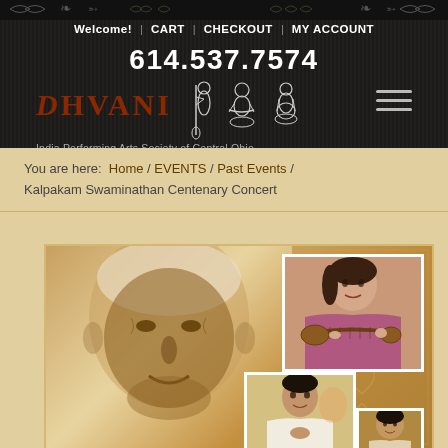Welcome! | CART | CHECKOUT | MY ACCOUNT
614.537.7574
[Figure (logo): Dhvani logo with stylized musicians sketch and text 'DHVANI - India Performing Arts Society of Central Ohio']
You are here: Home / EVENTS / Past Events / Kalpakam Swaminathan Centenary Concert
[Figure (photo): Concert event poster showing a sepia-toned portrait of an elderly man with white hair on the left, a photo of a woman playing veena in the upper right, and photos of musicians in the lower right, all on a golden/brown decorative background with scroll motifs.]